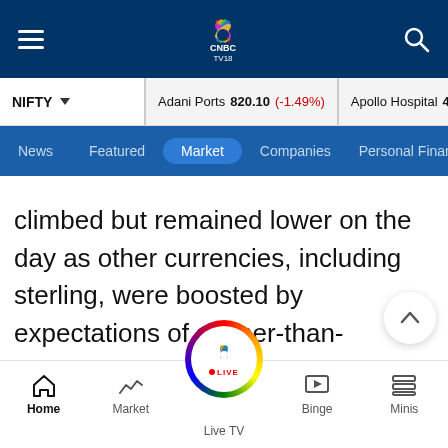CNBC TV18 — top navigation bar with hamburger menu, CNBC TV18 logo, and search icon
NIFTY  |  Adani Ports 820.10 (-1.49%)  |  Apollo Hospital 4161.00 (2...
News  Featured  Market  Companies  Personal Finance
climbed but remained lower on the day as other currencies, including sterling, were boosted by expectations of sooner-than-previously expected interest rate hikes.
Home  Market  Live TV  Binge  Minis